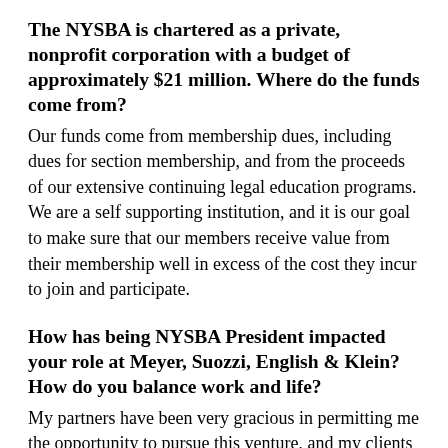The NYSBA is chartered as a private, nonprofit corporation with a budget of approximately $21 million. Where do the funds come from?
Our funds come from membership dues, including dues for section membership, and from the proceeds of our extensive continuing legal education programs. We are a self supporting institution, and it is our goal to make sure that our members receive value from their membership well in excess of the cost they incur to join and participate.
How has being NYSBA President impacted your role at Meyer, Suozzi, English & Klein? How do you balance work and life?
My partners have been very gracious in permitting me the opportunity to pursue this venture, and my clients have been generous in their understanding of the commitment